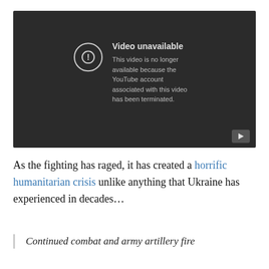[Figure (screenshot): YouTube video player showing 'Video unavailable' message. Dark background with a circle-exclamation icon and text: 'Video unavailable. This video is no longer available because the YouTube account associated with this video has been terminated.' A YouTube play button is shown in the bottom-right corner.]
As the fighting has raged, it has created a horrific humanitarian crisis unlike anything that Ukraine has experienced in decades…
Continued combat and army artillery fire